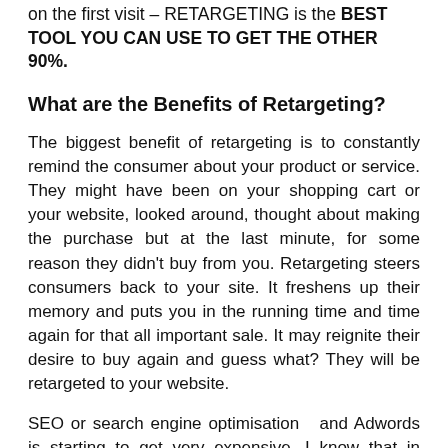on the first visit – RETARGETING is the BEST TOOL YOU CAN USE TO GET THE OTHER 90%.
What are the Benefits of Retargeting?
The biggest benefit of retargeting is to constantly remind the consumer about your product or service. They might have been on your shopping cart or your website, looked around, thought about making the purchase but at the last minute, for some reason they didn't buy from you. Retargeting steers consumers back to your site. It freshens up their memory and puts you in the running time and time again for that all important sale. It may reignite their desire to buy again and guess what? They will be retargeted to your website.
SEO or search engine optimisation  and Adwords is starting to get very expensive. I know that in some cases a cost per click for highly competitive